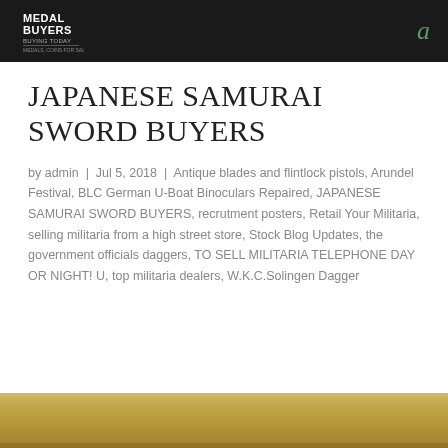Medal Buyers Buying Today | a
JAPANESE SAMURAI SWORD BUYERS
by admin | Jul 5, 2018 | Antique blades and flintlock pistols, Arundel Festival, BLC German U-Boat Binoculars Repaired, JAPANESE SAMURAI SWORD BUYERS, recrutment posters, Retail Your Militaria, selling militaria from a high street store, Stock Blog Updates, the government officials daggers, TO SELL MILITARIA TELEPHONE DAY OR NIGHT! U, top militaria dealers, W.K.C.Solingen Dagger
[Figure (photo): Bottom strip showing a tan/gold colored surface, likely part of a samurai sword or militaria item image]